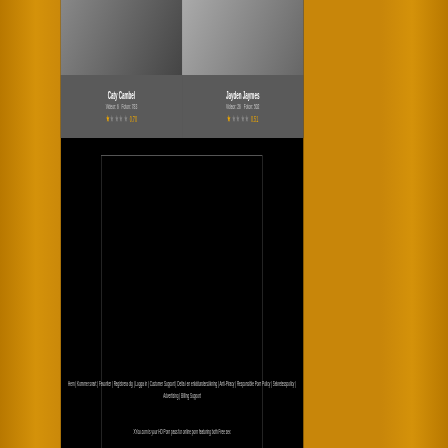Caty Cambel
Videor: 6   Foton: 783
★ 0.70
Jayden Jaymes
Videor: 26   Foton: 502
★ 0.51
[Figure (other): Black advertisement box with border]
Hem | Kommer snart | Favoriter | Registrera dig | Logga in | Customer Support | Delta i en enkätundersökning | Anti-Piracy | Responsible Porn Policy | Sekretesspolicy | Advertising | Billing Support XYou.com is your HD Porn pass for online porn featuring both Free sex